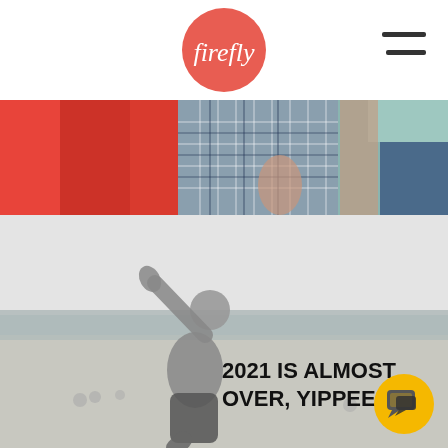[Figure (logo): Firefly logo - white cursive text on a coral/salmon red circle]
[Figure (photo): Hamburger menu icon - two horizontal dark lines]
[Figure (photo): Top photo strip showing colorful clothing close-ups: red fabric on left, blue/white plaid shirt in center, blue/teal fabric on right with a person's arms]
[Figure (photo): Black and white beach scene with a man in swimwear raising his arm in celebration on a beach with other people in background]
2021 IS ALMOST OVER, YIPPEE!
[Figure (other): Yellow circular chat button with speech bubble icon in bottom right corner]